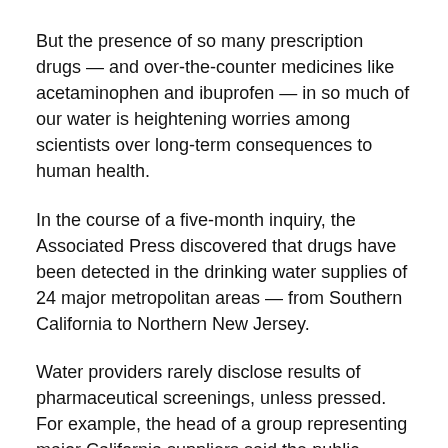But the presence of so many prescription drugs — and over-the-counter medicines like acetaminophen and ibuprofen — in so much of our water is heightening worries among scientists over long-term consequences to human health.
In the course of a five-month inquiry, the Associated Press discovered that drugs have been detected in the drinking water supplies of 24 major metropolitan areas — from Southern California to Northern New Jersey.
Water providers rarely disclose results of pharmaceutical screenings, unless pressed. For example, the head of a group representing major California suppliers said the public "doesn't know how to interpret the information" and might be unduly alarmed.